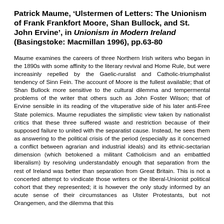Patrick Maume, 'Ulstermen of Letters: The Unionism of Frank Frankfort Moore, Shan Bullock, and St. John Ervine', in Unionism in Modern Ireland (Basingstoke: Macmillan 1996), pp.63-80
Maume examines the careers of three Northern Irish writers who began in the 1890s with some affinity to the literary revival and Home Rule, but were increasinly repelled by the Gaelic-ruralist and Catholic-triumphalist tendency of Sinn Fein. The account of Moore is the fullest available; that of Shan Bullock more sensitive to the cultural dilemma and tempermental problems of the writer that others such as John Foster Wilson; that of Ervine sensible in its reading of the vituperative side of his later anti-Free State polemics. Maume repudiates the simplistic view taken by nationalist critics that these three suffered waste and restriction because of their supposed failure to united with the separatist cause. Instead, he sees them as answering to the political crisis of the period (especially as it concerned a conflict between agrarian and industrial ideals) and its ethnic-sectarian dimension (which betokened a militant Catholicism and an embattled liberalism) by resolving understandably enough that separation from the rest of Ireland was better than separation from Great Britain. This is not a concerted attempt to vindicate those writers or the liberal-Unionist political cohort that they represented; it is however the only study informed by an acute sense of their circumstances as Ulster Protestants, but not Orangemen, and the dilemma that this